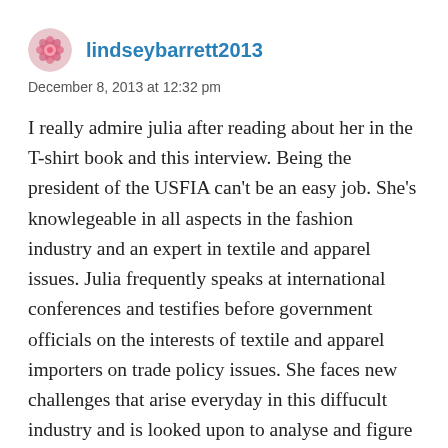lindseybarrett2013
December 8, 2013 at 12:32 pm
I really admire julia after reading about her in the T-shirt book and this interview. Being the president of the USFIA can't be an easy job. She's knowlegeable in all aspects in the fashion industry and an expert in textile and apparel issues. Julia frequently speaks at international conferences and testifies before government officials on the interests of textile and apparel importers on trade policy issues. She faces new challenges that arise everyday in this diffucult industry and is looked upon to analyse and figure out solutions to them. It makes me happy to see a woman in charge of such a large